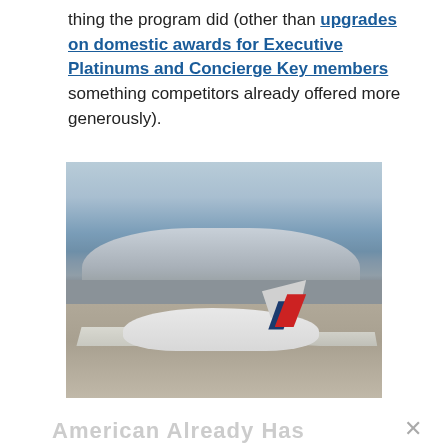thing the program did (other than upgrades on domestic awards for Executive Platinums and Concierge Key members something competitors already offered more generously).
[Figure (photo): An American Airlines regional jet on the tarmac at an airport, with a modern terminal building visible in the background. The aircraft displays the American Airlines livery with red and blue stripes on the tail.]
American Already Has